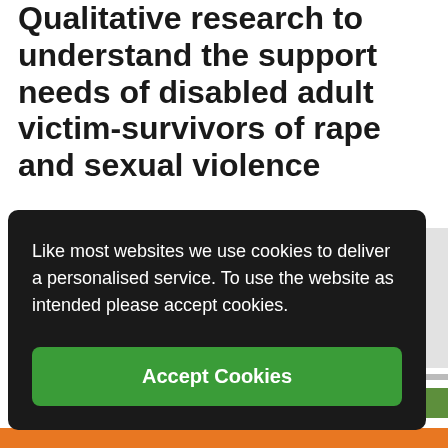Qualitative research to understand the support needs of disabled adult victim-survivors of rape and sexual violence
The Ministry of Justice is funding a team of disabled and non-disabled researchers to talk to D/deaf and disabled adult victims and survivors of rape and sexual violence in England and Wales about their support needs.
Like most websites we use cookies to deliver a personalised service. To use the website as intended please accept cookies.